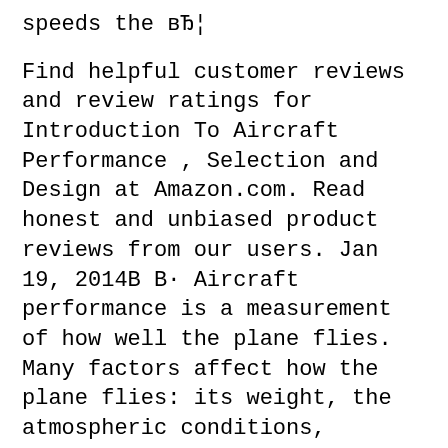speeds the вЂ¦
Find helpful customer reviews and review ratings for Introduction To Aircraft Performance , Selection and Design at Amazon.com. Read honest and unbiased product reviews from our users. Jan 19, 2014В В· Aircraft performance is a measurement of how well the plane flies. Many factors affect how the plane flies: its weight, the atmospheric conditions, pressure, temperature, humidity, even the runway at takeoff. Aircraft performance will tell you the speeds the вЂ¦
SESA3040 Introduction to Aircraft Design. Module Overview. This is an